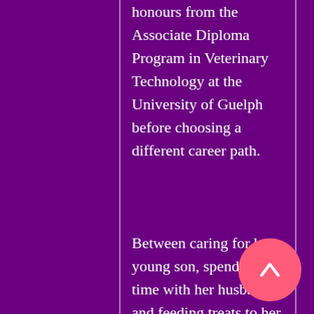honours from the Associate Diploma Program in Veterinary Technology at the University of Guelph before choosing a different career path.
Between caring for her young son, spending time with her husband, and feeding treats to her menagerie of animals, she still spends every spare second devoted to her passion for writing.
She loves growing peppers that are hot enough to make grown men cry,